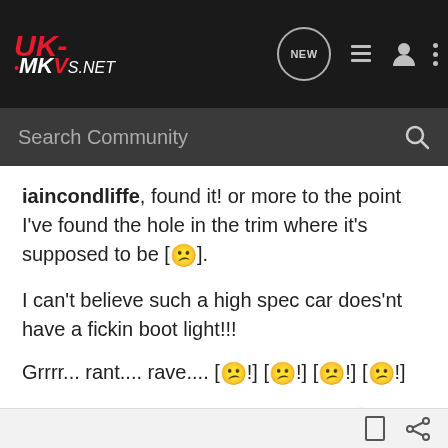UK-MKV5.NET — Navigation bar with NEW, list, user, and menu icons
Search Community
iaincondliffe, found it! or more to the point I've found the hole in the trim where it's supposed to be [😕].

I can't believe such a high spec car does'nt have a fickin boot light!!!

Grrrr... rant.... rave.... [😕!] [😕!] [😕!] [😕!]

Ah well supppose it'll save on bulbs [😀]

Dave.